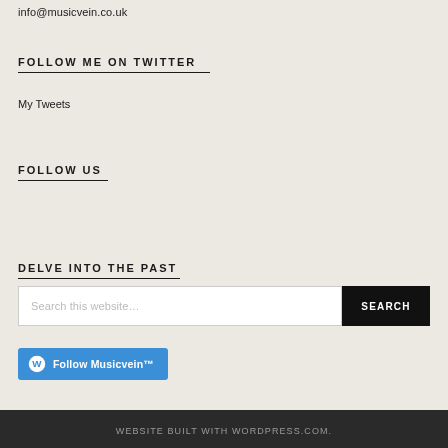info@musicvein.co.uk
FOLLOW ME ON TWITTER
My Tweets
FOLLOW US
DELVE INTO THE PAST
Search this website…
SEARCH
Follow Musicvein™
WEBSITE BUILT WITH WORDPRESS.COM.